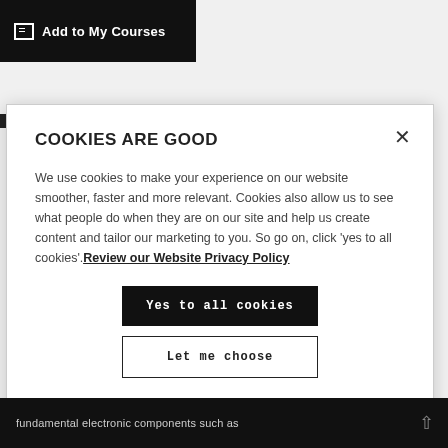Add to My Courses
COOKIES ARE GOOD
We use cookies to make your experience on our website smoother, faster and more relevant. Cookies also allow us to see what people do when they are on our site and help us create content and tailor our marketing to you. So go on, click 'yes to all cookies'. Review our Website Privacy Policy
Yes to all cookies
Let me choose
fundamental electronic components such as